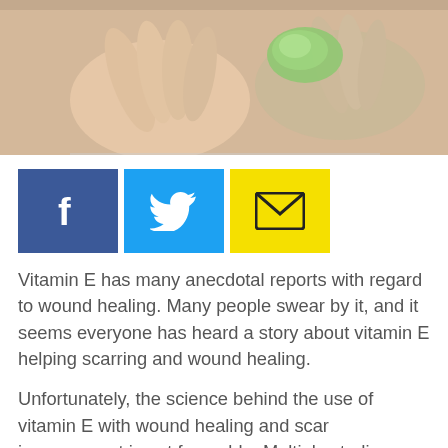[Figure (photo): Close-up photo of hands applying or holding gel/cream, skin-toned background]
[Figure (infographic): Social sharing buttons: Facebook (blue), Twitter (light blue), Email (yellow)]
Vitamin E has many anecdotal reports with regard to wound healing. Many people swear by it, and it seems everyone has heard a story about vitamin E helping scarring and wound healing.
Unfortunately, the science behind the use of vitamin E with wound healing and scar improvement is not favorable. Multiple studies have compared using emollients (like petrolatum, e.g. Vaseline) to emollients with added vitamin E to see if the vitamin E group would have better healing and scar appearance after skin surgery. No study has shown any difference between a "base" emollient/cream applied to a scar